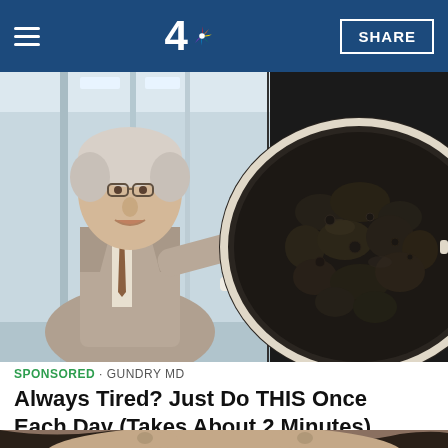NBC 4 | SHARE
[Figure (photo): Composite image: left side shows an older male doctor in a suit pointing to the right, in a hospital hallway background; right side shows a close-up of dark food in a pan/skillet]
SPONSORED · GUNDRY MD
Always Tired? Just Do THIS Once Each Day (Takes About 2 Minutes)
[Figure (photo): Close-up photo of an older man's face with blue eyes and disheveled dark hair, partially shown at bottom of page]